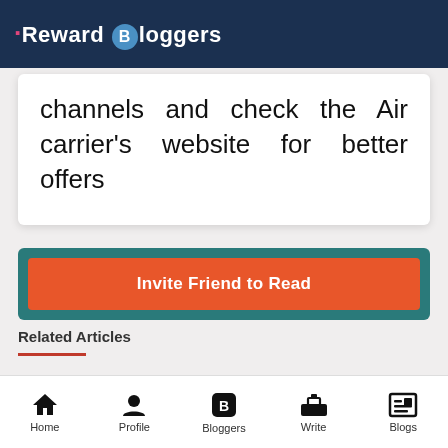Reward Bloggers
channels and check the Air carrier's website for better offers
Invite Friend to Read
Related Articles
Best Tips For Allegiant Airlines
Home | Profile | Bloggers | Write | Blogs